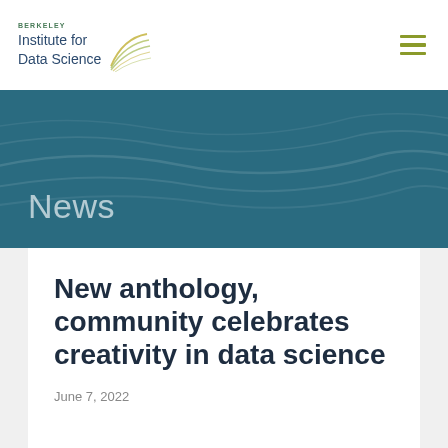[Figure (logo): Berkeley Institute for Data Science logo with wavy graphic lines in gold/green]
≡
[Figure (illustration): Teal/blue hero banner with decorative wave lines and 'News' text overlay]
New anthology, community celebrates creativity in data science
June 7, 2022